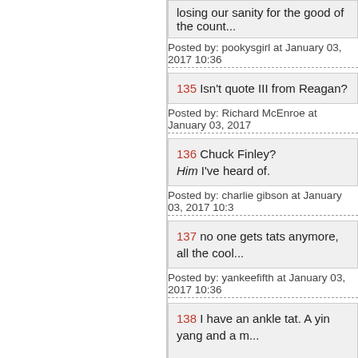losing our sanity for the good of the count...
Posted by: pookysgirl at January 03, 2017 10:36
135 Isn't quote III from Reagan?
Posted by: Richard McEnroe at January 03, 2017
136 Chuck Finley? Him I've heard of.
Posted by: charlie gibson at January 03, 2017 10:3
137 no one gets tats anymore, all the cool...
Posted by: yankeefifth at January 03, 2017 10:36
138 I have an ankle tat. A yin yang and a m... I hope y'all don't think less of me.
Posted by: @DangerGirl (gab.ai) and her 1,1...